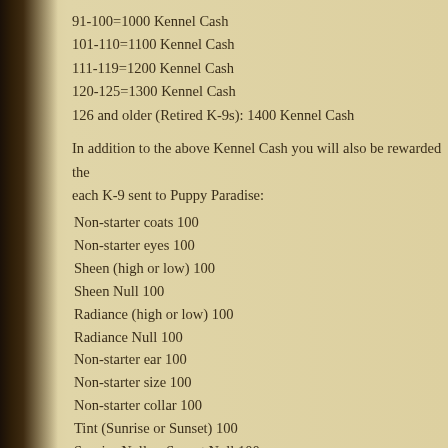91-100=1000 Kennel Cash
101-110=1100 Kennel Cash
111-119=1200 Kennel Cash
120-125=1300 Kennel Cash
126 and older (Retired K-9s): 1400 Kennel Cash
In addition to the above Kennel Cash you will also be rewarded the each K-9 sent to Puppy Paradise:
Non-starter coats 100
Non-starter eyes 100
Sheen (high or low) 100
Sheen Null 100
Radiance (high or low) 100
Radiance Null 100
Non-starter ear 100
Non-starter size 100
Non-starter collar 100
Tint (Sunrise or Sunset) 100
Sunrise Null or Sunset Null 100
Non-starter tail 100
Non-starter nose 100
Gloom 100
Paw Polish 100